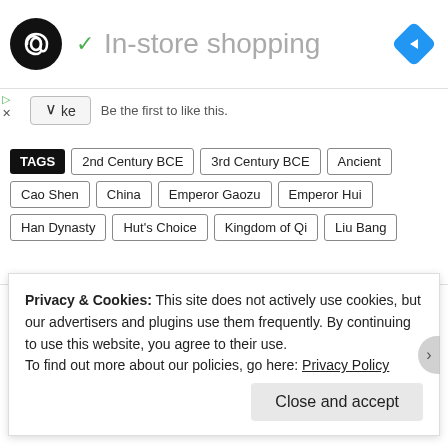[Figure (logo): Black circle logo with white infinity/double arrow symbol, and blue diamond navigation icon on the right]
✓ In-store shopping
Be the first to like this.
TAGS  2nd Century BCE  3rd Century BCE  Ancient  Cao Shen  China  Emperor Gaozu  Emperor Hui  Han Dynasty  Hut's Choice  Kingdom of Qi  Liu Bang
Privacy & Cookies: This site does not actively use cookies, but our advertisers and plugins use them frequently. By continuing to use this website, you agree to their use.
To find out more about our policies, go here: Privacy Policy
Close and accept